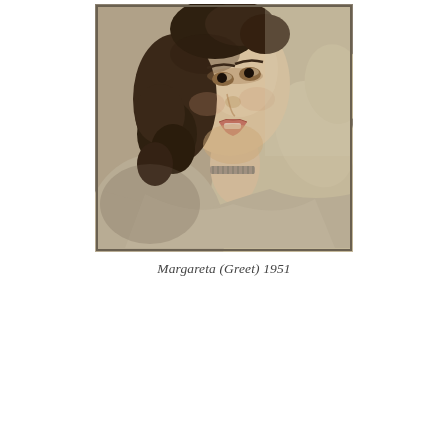[Figure (photo): Black and white sepia-toned portrait photograph of a young woman named Margareta (Greet), taken in 1951. She is looking upward and to the right, has curly dark hair, and is wearing a light-colored sweater with a decorative choker necklace. Her hand is raised near her shoulder. The photo has a thin dark border.]
Margareta (Greet) 1951